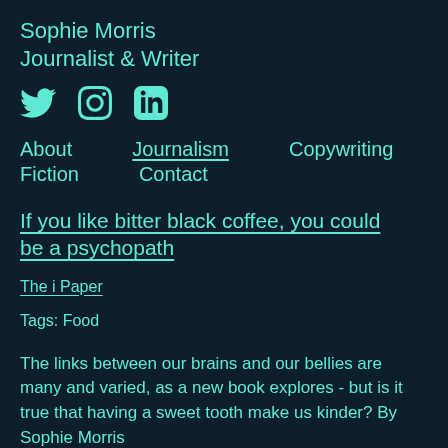Sophie Morris
Journalist & Writer
[Figure (infographic): Three social media icons: Twitter bird, Instagram camera, LinkedIn 'in' logo]
About   Journalism   Copywriting
Fiction   Contact
If you like bitter black coffee, you could be a psychopath
The i Paper
Tags: Food
The links between our brains and our bellies are many and varied, as a new book explores - but is it true that having a sweet tooth make us kinder? By Sophie Morris